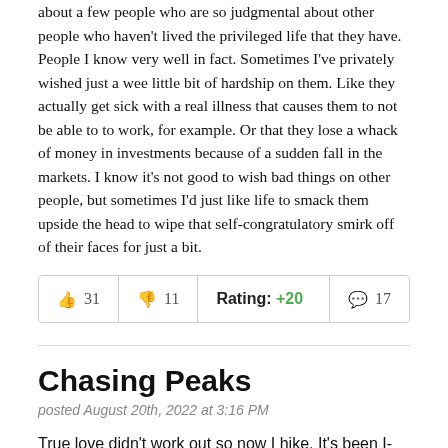about a few people who are so judgmental about other people who haven't lived the privileged life that they have. People I know very well in fact. Sometimes I've privately wished just a wee little bit of hardship on them. Like they actually get sick with a real illness that causes them to not be able to to work, for example. Or that they lose a whack of money in investments because of a sudden fall in the markets. I know it's not good to wish bad things on other people, but sometimes I'd just like life to smack them upside the head to wipe that self-congratulatory smirk off of their faces for just a bit.
| 👍 31 | 👎 11 | Rating: +20 | 💬 17 |
| --- | --- | --- | --- |
Chasing Peaks
posted August 20th, 2022 at 3:16 PM
True love didn't work out so now I hike. It's been I-don't-know 12-13 years or so of this, but I don't know if it's satisfying.